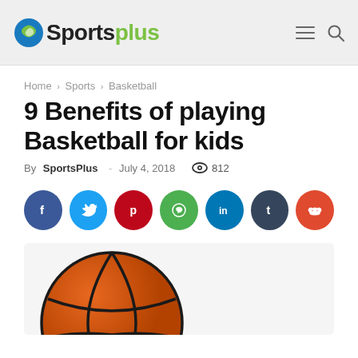SportsPlus
Home › Sports › Basketball
9 Benefits of playing Basketball for kids
By SportsPlus - July 4, 2018  812
[Figure (infographic): Social sharing buttons: Facebook, Twitter, Pinterest, WhatsApp, LinkedIn, Tumblr, Reddit]
[Figure (photo): Close-up photo of an orange basketball against a white background]